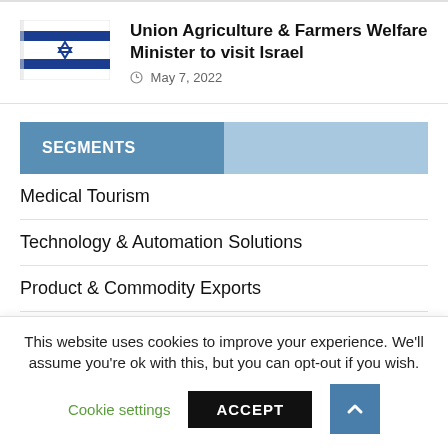[Figure (photo): Israeli flag waving]
Union Agriculture & Farmers Welfare Minister to visit Israel
May 7, 2022
SEGMENTS
Medical Tourism
Technology & Automation Solutions
Product & Commodity Exports
Education in India
This website uses cookies to improve your experience. We'll assume you're ok with this, but you can opt-out if you wish.
Cookie settings
ACCEPT